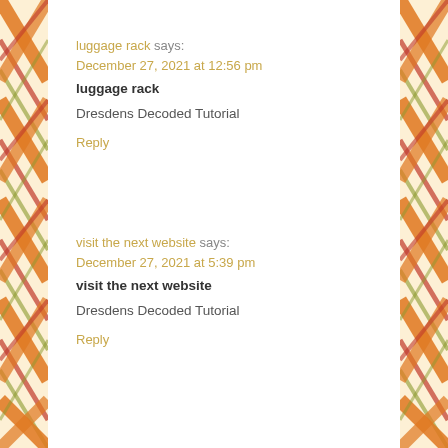luggage rack says: December 27, 2021 at 12:56 pm
luggage rack
Dresdens Decoded Tutorial
Reply
visit the next website says: December 27, 2021 at 5:39 pm
visit the next website
Dresdens Decoded Tutorial
Reply